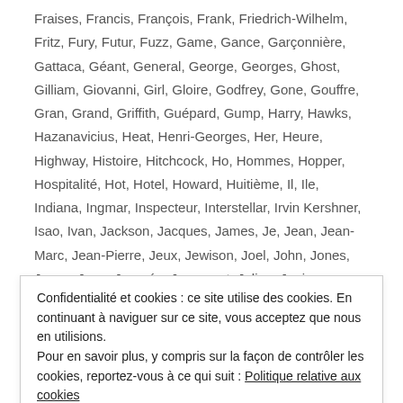Fraises, Francis, François, Frank, Friedrich-Wilhelm, Fritz, Fury, Futur, Fuzz, Game, Gance, Garçonnière, Gattaca, Géant, General, George, Georges, Ghost, Gilliam, Giovanni, Girl, Gloire, Godfrey, Gone, Gouffre, Gran, Grand, Griffith, Guépard, Gump, Harry, Hawks, Hazanavicius, Heat, Henri-Georges, Her, Heure, Highway, Histoire, Hitchcock, Ho, Hommes, Hopper, Hospitalité, Hot, Hotel, Howard, Huitième, Il, Ile, Indiana, Ingmar, Inspecteur, Interstellar, Irvin Kershner, Isao, Ivan, Jackson, Jacques, James, Je, Jean, Jean-Marc, Jean-Pierre, Jeux, Jewison, Joel, John, Jones, Jonze, Joon, Journée, Jugement, Julian, Junior, Jurassic, Kalatozov, Kane, Keaton, Kevin, Kid, King, Kotcheff, Koyaanisqatsi, Kubrick, Kurosawa, là-haut, Lana, Lang, Larry, Laura, Lauréat, Légende, Léon, Leone,
Confidentialité et cookies : ce site utilise des cookies. En continuant à naviguer sur ce site, vous acceptez que nous en utilisions. Pour en savoir plus, y compris sur la façon de contrôler les cookies, reportez-vous à ce qui suit : Politique relative aux cookies
Milestone, Miller, Milos, Minnelli, Miroir, Mitty, Modernes, Mort, Mr,